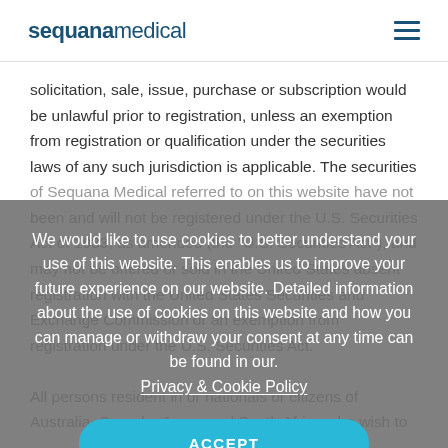sequanamedical
solicitation, sale, issue, purchase or subscription would be unlawful prior to registration, unless an exemption from registration or qualification under the securities laws of any such jurisdiction is applicable. The securities of Sequana Medical referred to on this website have not been and will not be registered under the U.S. Securities Act of 1933, as amended (the "U.S. Securities Act"), and may not be offered or sold in the United States absent registration with the United States Securities and Exchange Commission or an exemption from registration under the U.S. Securities Act.
We would like to use cookies to better understand your use of this website. This enables us to improve your future experience on our website. Detailed information about the use of cookies on this website and how you can manage or withdraw your consent at any time can be found in our. Privacy & Cookie Policy
All persons resident in or nationals or citizens of Australia, Canada, Japan and South Africa who wish to